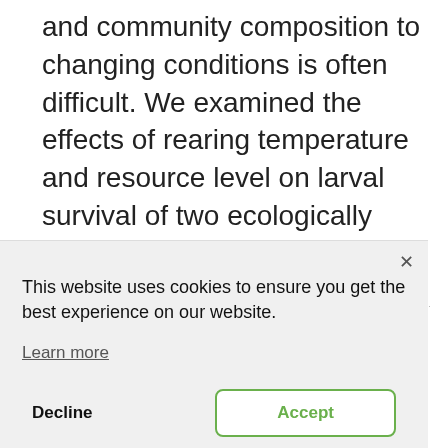and community composition to changing conditions is often difficult. We examined the effects of rearing temperature and resource level on larval survival of two ecologically similar…
R...l...ti...
This website uses cookies to ensure you get the best experience on our website.
Learn more
Decline
Accept